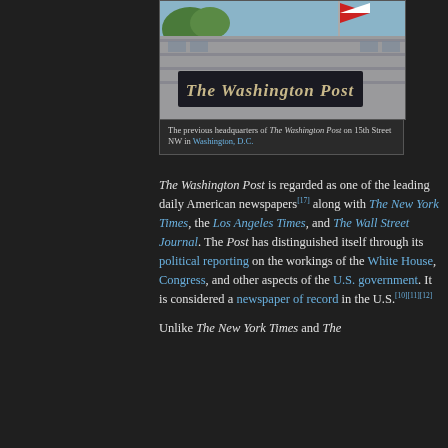[Figure (photo): Photograph of The Washington Post building facade on 15th Street NW, showing the newspaper's gothic-script logo sign and a flag in the background]
The previous headquarters of The Washington Post on 15th Street NW in Washington, D.C.
The Washington Post is regarded as one of the leading daily American newspapers[17] along with The New York Times, the Los Angeles Times, and The Wall Street Journal. The Post has distinguished itself through its political reporting on the workings of the White House, Congress, and other aspects of the U.S. government. It is considered a newspaper of record in the U.S.[10][11][12]
Unlike The New York Times and The